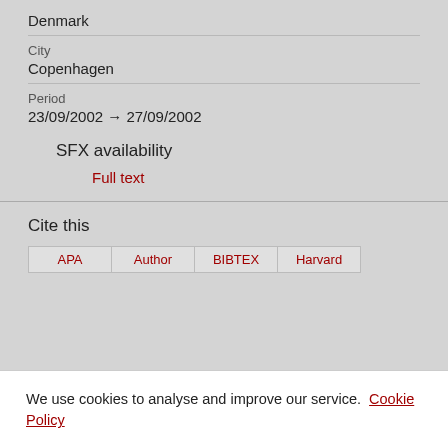Denmark
City
Copenhagen
Period
23/09/2002 → 27/09/2002
SFX availability
Full text
Cite this
APA  Author  BIBTEX  Harvard
We use cookies to analyse and improve our service. Cookie Policy